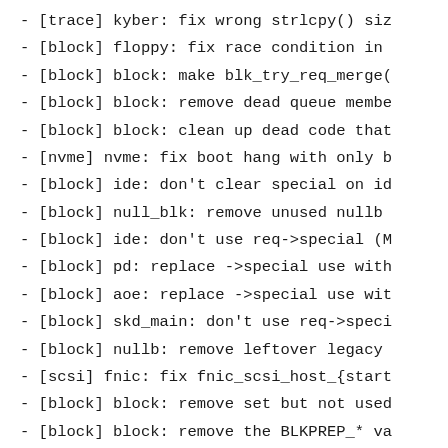- [trace] kyber: fix wrong strlcpy() siz
- [block] floppy: fix race condition in
- [block] block: make blk_try_req_merge(
- [block] block: remove dead queue membe
- [block] block: clean up dead code that
- [nvme] nvme: fix boot hang with only b
- [block] ide: don't clear special on id
- [block] null_blk: remove unused nullb
- [block] ide: don't use req->special (M
- [block] pd: replace ->special use with
- [block] aoe: replace ->special use wit
- [block] skd_main: don't use req->speci
- [block] nullb: remove leftover legacy
- [scsi] fnic: fix fnic_scsi_host_{start
- [block] block: remove set but not used
- [block] block: remove the BLKPREP_* va
- [scsi] scsi: return blk_status_t from
- [scsi] scsi: return blk_status_t from
- [scsi] scsi: clean up error handling i